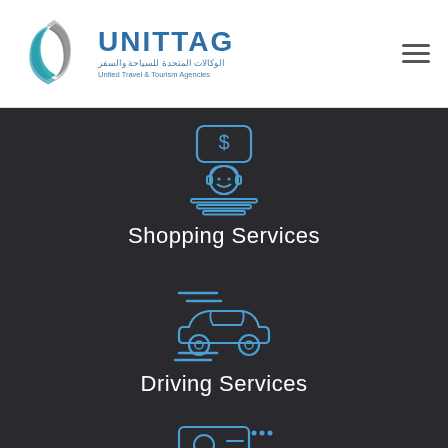[Figure (logo): UNITTAG United Travel & Tourism Agencies logo with stylized S/J letter mark in teal and gray]
[Figure (illustration): Blue outline icon of a customer service/shopping agent with headset and dollar sign]
Shopping Services
[Figure (illustration): Blue outline icon of a fast moving car with speed lines]
Driving Services
[Figure (illustration): Blue outline icon of a person with ID card/document]